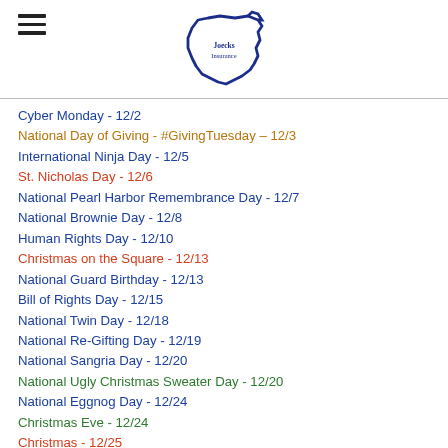Joecks Insurance logo
Cyber Monday - 12/2
National Day of Giving - #GivingTuesday – 12/3
International Ninja Day - 12/5
St. Nicholas Day - 12/6
National Pearl Harbor Remembrance Day - 12/7
National Brownie Day - 12/8
Human Rights Day - 12/10
Christmas on the Square - 12/13
National Guard Birthday - 12/13
Bill of Rights Day - 12/15
National Twin Day - 12/18
National Re-Gifting Day - 12/19
National Sangria Day - 12/20
National Ugly Christmas Sweater Day - 12/20
National Eggnog Day - 12/24
Christmas Eve - 12/24
Christmas - 12/25
Pledge of Allegiance Day - 12/28